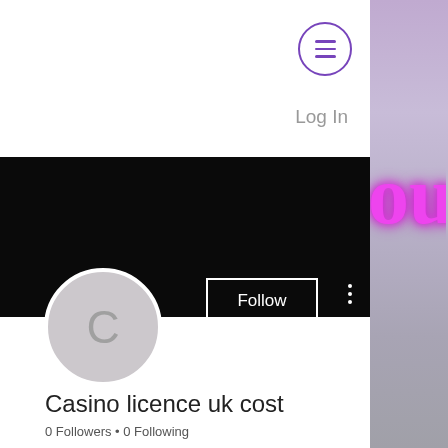[Figure (screenshot): Mobile website screenshot showing a profile page with hamburger menu icon (purple circle with three lines), Log In text, black banner, circular avatar with letter C, Follow button, three-dot menu, profile name 'Casino licence uk cost', '0 Followers • 0 Following' stats, a dropdown/collapsible section, and a grey footer bar with phone, email, Facebook, and Instagram icons. Right edge shows a purple neon sign background.]